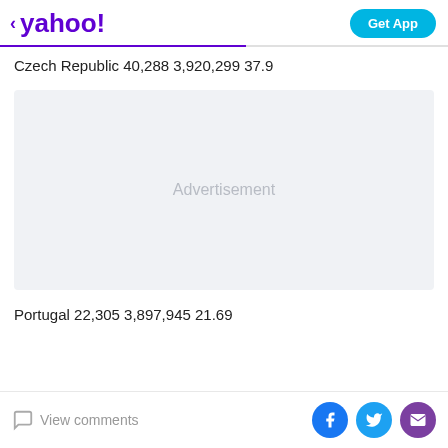yahoo! | Get App
Czech Republic 40,288 3,920,299 37.9
[Figure (other): Advertisement placeholder box with light gray background and 'Advertisement' text centered]
Portugal 22,305 3,897,945 21.69
View comments | Facebook share | Twitter share | Email share